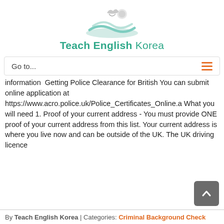Teach English Korea
Go to...
information  Getting Police Clearance for British You can submit online application at https://www.acro.police.uk/Police_Certificates_Online.a What you will need 1. Proof of your current address - You must provide ONE proof of your current address from this list. Your current address is where you live now and can be outside of the UK. The UK driving licence
By Teach English Korea | Categories: Criminal Background Check